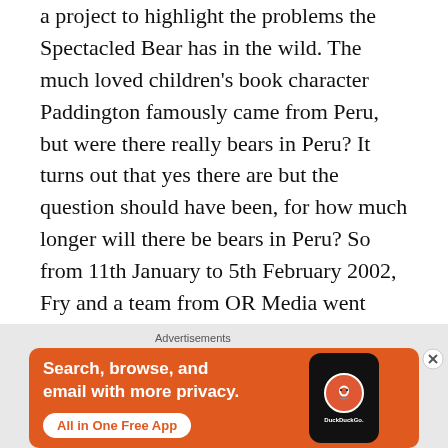a project to highlight the problems the Spectacled Bear has in the wild. The much loved children's book character Paddington famously came from Peru, but were there really bears in Peru? It turns out that yes there are but the question should have been, for how much longer will there be bears in Peru? So from 11th January to 5th February 2002, Fry and a team from OR Media went back to make a film about saving a couple of captive bears from appalling conditions in a tiny private zoo attached to a cafe along with two more from
Advertisements
[Figure (infographic): DuckDuckGo advertisement banner with orange background showing 'Search, browse, and email with more privacy. All in One Free App' text with a phone mockup showing the DuckDuckGo logo.]